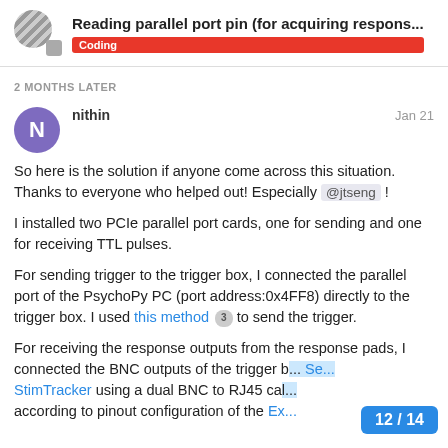Reading parallel port pin (for acquiring respons...
2 MONTHS LATER
nithin  Jan 21
So here is the solution if anyone come across this situation. Thanks to everyone who helped out! Especially @jtseng !
I installed two PCIe parallel port cards, one for sending and one for receiving TTL pulses.
For sending trigger to the trigger box, I connected the parallel port of the PsychoPy PC (port address:0x4FF8) directly to the trigger box. I used this method 3 to send the trigger.
For receiving the response outputs from the response pads, I connected the BNC outputs of the trigger b... StimTracker using a dual BNC to RJ45 cal... according to pinout configuration of the Ex...
12 / 14